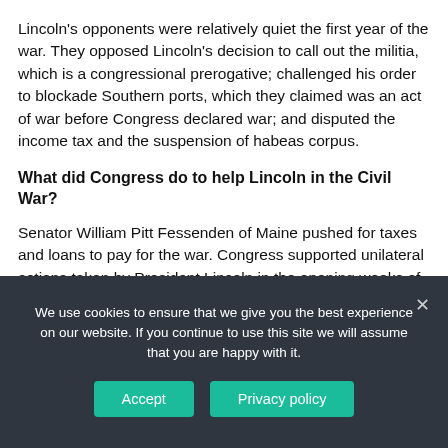Lincoln's opponents were relatively quiet the first year of the war. They opposed Lincoln's decision to call out the militia, which is a congressional prerogative; challenged his order to blockade Southern ports, which they claimed was an act of war before Congress declared war; and disputed the income tax and the suspension of habeas corpus.
What did Congress do to help Lincoln in the Civil War?
Senator William Pitt Fessenden of Maine pushed for taxes and loans to pay for the war. Congress supported unilateral actions taken by President Lincoln in the opening weeks of the war, except for his decision to suspend the writ of habeas corpus.
We use cookies to ensure that we give you the best experience on our website. If you continue to use this site we will assume that you are happy with it.